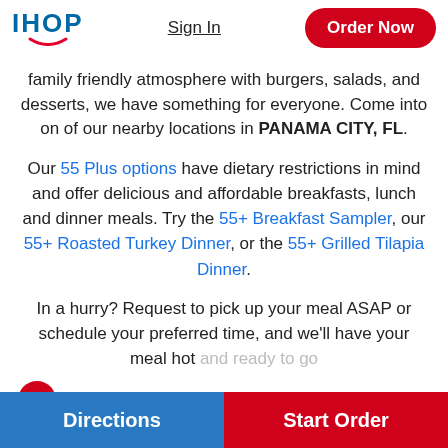IHOP | Sign In | Order Now
family friendly atmosphere with burgers, salads, and desserts, we have something for everyone. Come into on of our nearby locations in PANAMA CITY, FL.
Our 55 Plus options have dietary restrictions in mind and offer delicious and affordable breakfasts, lunch and dinner meals. Try the 55+ Breakfast Sampler, our 55+ Roasted Turkey Dinner, or the 55+ Grilled Tilapia Dinner.
In a hurry? Request to pick up your meal ASAP or schedule your preferred time, and we'll have your meal hot and ready to go
My IHOP
Directions | Start Order